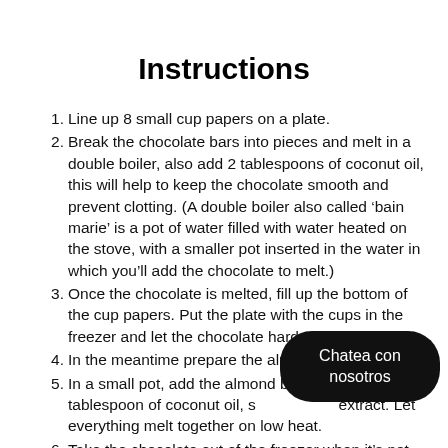Instructions
Line up 8 small cup papers on a plate.
Break the chocolate bars into pieces and melt in a double boiler, also add 2 tablespoons of coconut oil, this will help to keep the chocolate smooth and prevent clotting. (A double boiler also called ‘bain marie’ is a pot of water filled with water heated on the stove, with a smaller pot inserted in the water in which you’ll add the chocolate to melt.)
Once the chocolate is melted, fill up the bottom of the cup papers. Put the plate with the cups in the freezer and let the chocolate harden.
In the meantime prepare the almond butter.
In a small pot, add the almond butter, one tablespoon of coconut oil, some vanilla extract. Let everything melt together on low heat.
Take the chocolate out of the freezer when it’s not